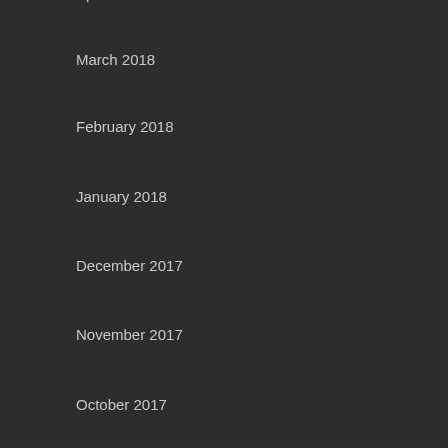April 2018
March 2018
February 2018
January 2018
December 2017
November 2017
October 2017
September 2017
August 2017
July 2017
June 2017
May 2017
April 2017
March 2017
February 2017
January 2017